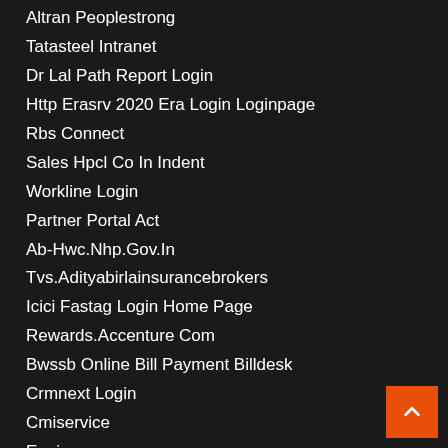Altran Peoplestrong
Tatasteel Intranet
Dr Lal Path Report Login
Http Erasrv 2020 Era Login Loginpage
Rbs Connect
Sales Hpcl Co In Indent
Workline Login
Partner Portal Act
Ab-Hwc.Nhp.Gov.In
Tvs.Adityabirlainsurancebrokers
Icici Fastag Login Home Page
Rewards.Accenture Com
Bwssb Online Bill Payment Billdesk
Crmnext Login
Cmiservice
Egujcop
Paynear Login
Tata Aig Agent Portal